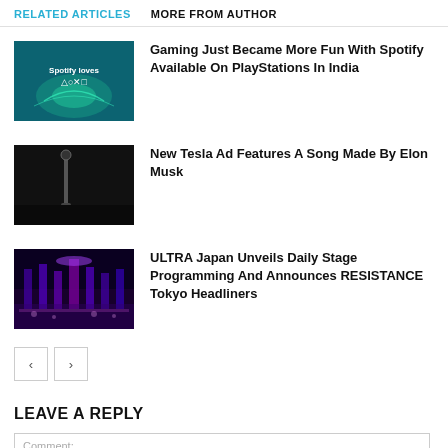RELATED ARTICLES   MORE FROM AUTHOR
[Figure (photo): Spotify loves PlayStation promotional image with teal/dark background and PlayStation symbols]
Gaming Just Became More Fun With Spotify Available On PlayStations In India
[Figure (photo): Dark image of a Tesla car charger/plug against dark background]
New Tesla Ad Features A Song Made By Elon Musk
[Figure (photo): Concert stage with colorful purple/blue lights and crowd at ULTRA Japan]
ULTRA Japan Unveils Daily Stage Programming And Announces RESISTANCE Tokyo Headliners
LEAVE A REPLY
Comment: